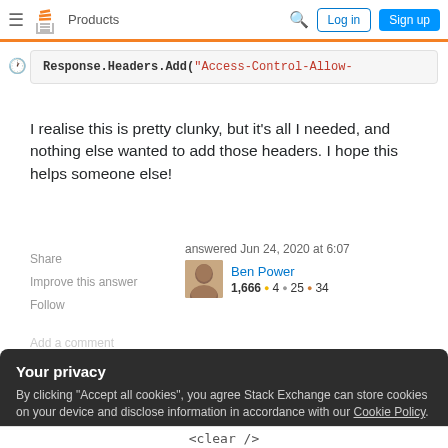≡ [Stack Overflow logo] Products 🔍 Log in Sign up
[Figure (screenshot): Code snippet: Response.Headers.Add("Access-Control-Allow- ...]
I realise this is pretty clunky, but it's all I needed, and nothing else wanted to add those headers. I hope this helps someone else!
Share
Improve this answer
Follow
answered Jun 24, 2020 at 6:07
Ben Power
1,666 ●4 ●25 ●34
Add a comment
Your privacy
By clicking "Accept all cookies", you agree Stack Exchange can store cookies on your device and disclose information in accordance with our Cookie Policy.
Accept all cookies   Customize settings
<clear />